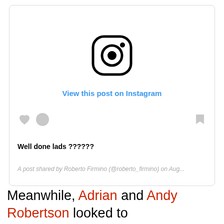[Figure (screenshot): Instagram embed card showing the Instagram logo, a 'View this post on Instagram' link in blue, action icons (heart, circle, bookmark), post caption 'Well done lads ??????', and attribution 'A post shared by Roberto Firmino (@roberto_firmino) on Aug...']
Meanwhile, Adrian and Andy Robertson looked to